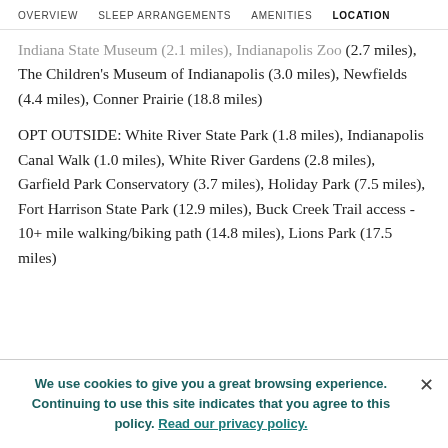OVERVIEW   SLEEP ARRANGEMENTS   AMENITIES   LOCATION
Indiana State Museum (2.1 miles), Indianapolis Zoo (2.7 miles), The Children's Museum of Indianapolis (3.0 miles), Newfields (4.4 miles), Conner Prairie (18.8 miles)
OPT OUTSIDE: White River State Park (1.8 miles), Indianapolis Canal Walk (1.0 miles), White River Gardens (2.8 miles), Garfield Park Conservatory (3.7 miles), Holiday Park (7.5 miles), Fort Harrison State Park (12.9 miles), Buck Creek Trail access - 10+ mile walking/biking path (14.8 miles), Lions Park (17.5 miles)
We use cookies to give you a great browsing experience. Continuing to use this site indicates that you agree to this policy. Read our privacy policy.